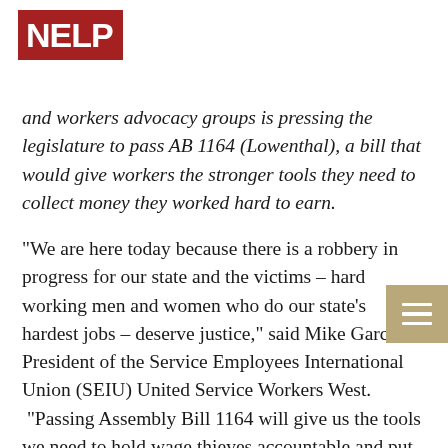NELP
and workers advocacy groups is pressing the legislature to pass AB 1164 (Lowenthal), a bill that would give workers the stronger tools they need to collect money they worked hard to earn.
“We are here today because there is a robbery in progress for our state and the victims – hard working men and women who do our state’s hardest jobs – deserve justice,” said Mike Garcia, President of the Service Employees International Union (SEIU) United Service Workers West.  “Passing Assembly Bill 1164 will give us the tools we need to hold wage thieves accountable and put billions of earned dollars back into workers’ paychecks and our state’s economy.”